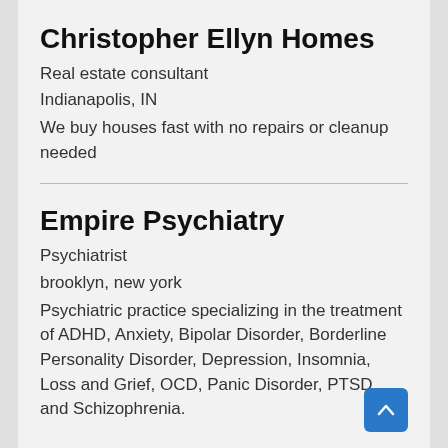Christopher Ellyn Homes
Real estate consultant
Indianapolis, IN
We buy houses fast with no repairs or cleanup needed
Empire Psychiatry
Psychiatrist
brooklyn, new york
Psychiatric practice specializing in the treatment of ADHD, Anxiety, Bipolar Disorder, Borderline Personality Disorder, Depression, Insomnia, Loss and Grief, OCD, Panic Disorder, PTSD, and Schizophrenia.